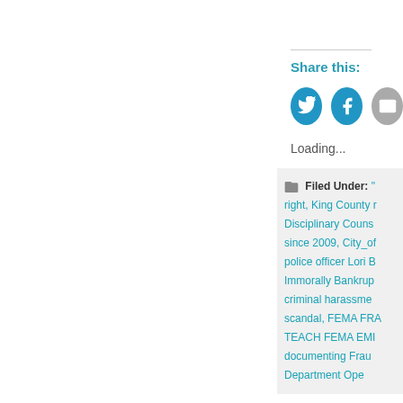Share this:
[Figure (other): Social share buttons: Twitter (blue bird icon), Facebook (blue f icon), Email (grey envelope icon)]
Loading...
Filed Under: [links] right, King County r... Disciplinary Couns... since 2009, City_of... police officer Lori B... Immorally Bankrup... criminal harassme... scandal, FEMA FRA... TEACH FEMA EMI... documenting Frau... Department Ope...